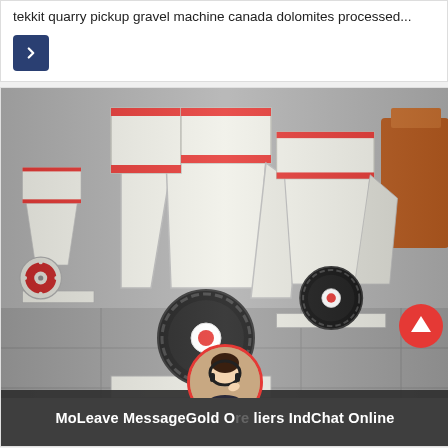tekkit quarry pickup gravel machine canada dolomites processed...
[Figure (illustration): Navigation arrow button (dark blue square with right-pointing arrow)]
[Figure (photo): Multiple large white industrial hammer/impact crusher machines with red and black belt-drive wheels arranged in a row on a concrete floor in a factory/warehouse setting]
MoLeave MessageGold Ore liers IndChat Online